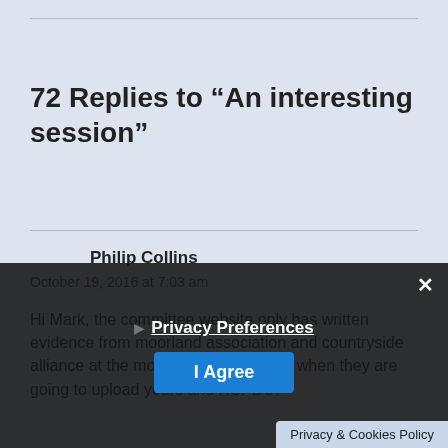72 Replies to “An interesting session”
Philip Collins
October 19, 2016 at 7:03 am
Hi Mark, the committee website only has written evidence from moorland association and countryside alliance at the moment. Do you know when they are going to upload yours and RSPB's?
Privacy Preferences
I Agree
Privacy & Cookies Policy